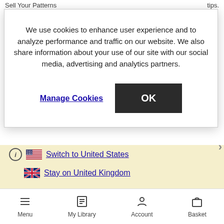Sell Your Patterns    tips.
Jobs
We use cookies to enhance user experience and to analyze performance and traffic on our website. We also share information about your use of our site with our social media, advertising and analytics partners.
Manage Cookies
OK
Switch to United States
Stay on United Kingdom
Menu   My Library   Account   Basket